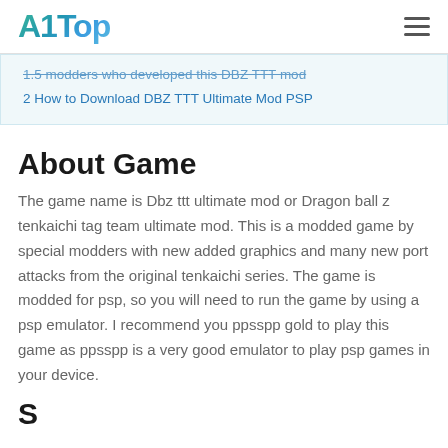A1Top
1.5 modders who developed this DBZ TTT mod
2 How to Download DBZ TTT Ultimate Mod PSP
About Game
The game name is Dbz ttt ultimate mod or Dragon ball z tenkaichi tag team ultimate mod. This is a modded game by special modders with new added graphics and many new port attacks from the original tenkaichi series. The game is modded for psp, so you will need to run the game by using a psp emulator. I recommend you ppsspp gold to play this game as ppsspp is a very good emulator to play psp games in your device.
S